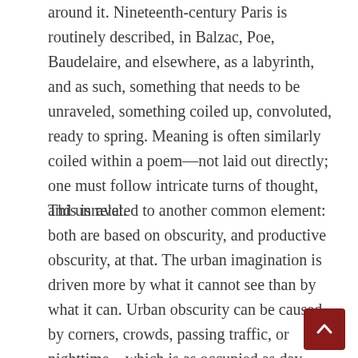around it. Nineteenth-century Paris is routinely described, in Balzac, Poe, Baudelaire, and elsewhere, as a labyrinth, and as such, something that needs to be unraveled, something coiled up, convoluted, ready to spring. Meaning is often similarly coiled within a poem—not laid out directly; one must follow intricate turns of thought, and unravel.
This is related to another common element: both are based on obscurity, and productive obscurity, at that. The urban imagination is driven more by what it cannot see than by what it can. Urban obscurity can be caused by corners, crowds, passing traffic, or nighttime—which is as occupied as day. Poetry's obscurities are ambiguity, insinuation, ellipsis, but also darkness—that of the unlit regions beyond logic and reason, regions of